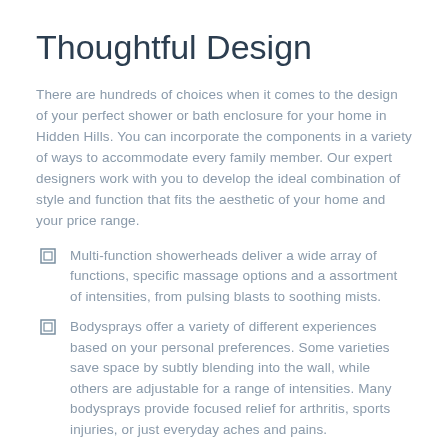Thoughtful Design
There are hundreds of choices when it comes to the design of your perfect shower or bath enclosure for your home in Hidden Hills. You can incorporate the components in a variety of ways to accommodate every family member. Our expert designers work with you to develop the ideal combination of style and function that fits the aesthetic of your home and your price range.
Multi-function showerheads deliver a wide array of functions, specific massage options and a assortment of intensities, from pulsing blasts to soothing mists.
Bodysprays offer a variety of different experiences based on your personal preferences. Some varieties save space by subtly blending into the wall, while others are adjustable for a range of intensities. Many bodysprays provide focused relief for arthritis, sports injuries, or just everyday aches and pains.
Rainhead showers mimic the luxurious drenching of a summer downpour for a soothing experience.